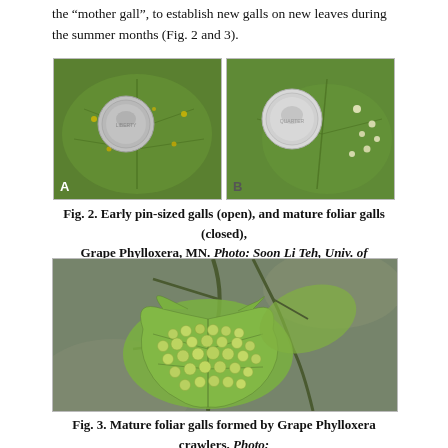the “mother gall”, to establish new galls on new leaves during the summer months (Fig. 2 and 3).
[Figure (photo): Two side-by-side photos of grape leaves. Left photo (A) shows a leaf with a coin and early pin-sized open galls. Right photo (B) shows a leaf with a coin and mature foliar closed galls. Both labeled A and B respectively.]
Fig. 2. Early pin-sized galls (open), and mature foliar galls (closed), Grape Phylloxera, MN. Photo: Soon Li Teh, Univ. of Minnesota
[Figure (photo): Close-up photo of grape vine leaves covered in many green mature foliar galls formed by Grape Phylloxera crawlers. The leaf surface is heavily warted with small rounded green gall structures.]
Fig. 3. Mature foliar galls formed by Grape Phylloxera crawlers. Photo: